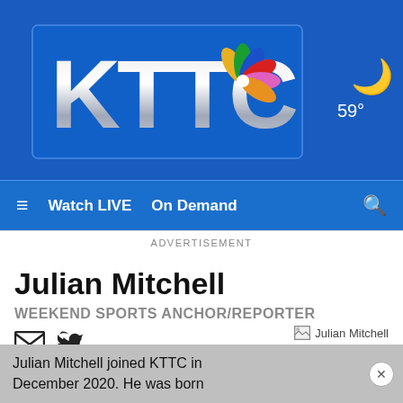[Figure (logo): KTTC NBC affiliate TV station logo on blue background]
[Figure (infographic): Moon/night weather icon with 59 degrees temperature]
≡  Watch LIVE  On Demand  🔍
ADVERTISEMENT
Julian Mitchell
WEEKEND SPORTS ANCHOR/REPORTER
[Figure (photo): Photo placeholder for Julian Mitchell]
Julian Mitchell joined KTTC in December 2020. He was born